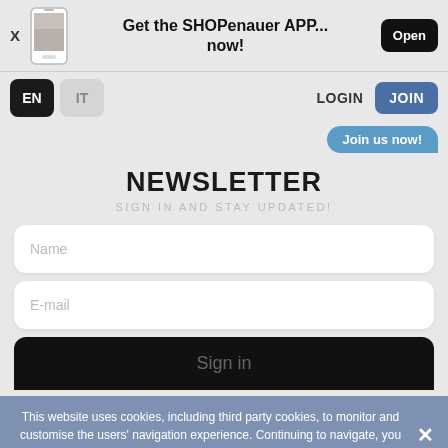[Figure (screenshot): App promotion banner with phone image, 'Get the SHOPenauer APP... now!' text, and Open button]
EN  IT  LOGIN  JOIN
Join us now!
NEWSLETTER
SIGN IN AND STAY UPDATED!
Name
E-mail
Sign in
This website uses cookies, including third party cookies, to monitor and customise the users' navigation experience. Continuing to navigate, you authorise the use of cookies on this website: read the Cookie Policy.